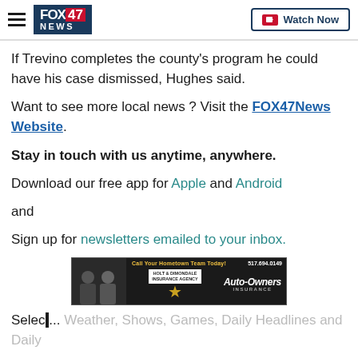FOX 47 NEWS — Watch Now
If Trevino completes the county's program he could have his case dismissed, Hughes said.
Want to see more local news ? Visit the FOX47News Website.
Stay in touch with us anytime, anywhere.
Download our free app for Apple and Android
and
Sign up for newsletters emailed to your inbox.
[Figure (photo): Auto-Owners Insurance advertisement banner with two people and Holt & Dimondale Insurance Agency logo]
Select ... Weather, Shows, Games, Daily Headlines and Daily ...